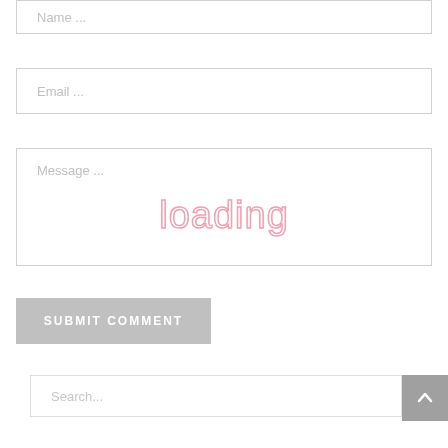Name ...
Email ...
Message ...
loading
SUBMIT COMMENT
Search...